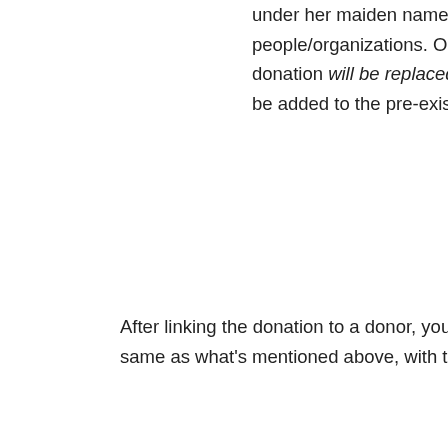under her maiden name but she donated after getting m… people/organizations. Once you've found the match, cli… donation will be replaced by the name of the person/or… be added to the pre-existing profile.
After linking the donation to a donor, you'll have the option of link… same as what's mentioned above, with these additional wrinkles…
If you link a person as the donor, Populi will suggest pe… as any organizations of which the donor is a member. F… provided you've linked her on the donor's profile, Populi…
Likewise, if you link an organization as the donor, Popu… credit.
You can add multiple soft credits to any donation.
If you make a mistake, click unlink to remove a donor or to rem…